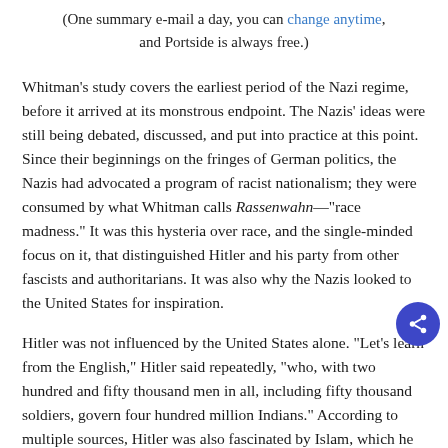(One summary e-mail a day, you can change anytime, and Portside is always free.)
Whitman’s study covers the earliest period of the Nazi regime, before it arrived at its monstrous endpoint. The Nazis’ ideas were still being debated, discussed, and put into practice at this point. Since their beginnings on the fringes of German politics, the Nazis had advocated a program of racist nationalism; they were consumed by what Whitman calls Rassenwahn—“race madness.” It was this hysteria over race, and the single-minded focus on it, that distinguished Hitler and his party from other fascists and authoritarians. It was also why the Nazis looked to the United States for inspiration.
Hitler was not influenced by the United States alone. “Let’s learn from the English,” Hitler said repeatedly, “who, with two hundred and fifty thousand men in all, including fifty thousand soldiers, govern four hundred million Indians.” According to multiple sources, Hitler was also fascinated by Islam, which he saw as a muscular, militant religion in contrast to the meek faith of